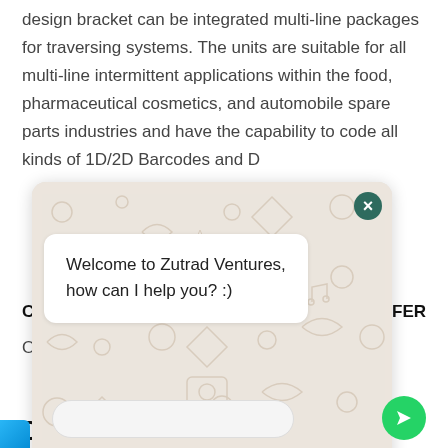design bracket can be integrated multi-line packages for traversing systems. The units are suitable for all multi-line intermittent applications within the food, pharmaceutical cosmetics, and automobile spare parts industries and have the capability to code all kinds of 1D/2D Barcodes and D
[Figure (screenshot): WhatsApp-style chat widget overlay showing a welcome message from Zutrad Ventures with chat bubble saying 'Welcome to Zutrad Ventures, how can I help you? :)', with a close (X) button, decorative doodle background, and input/send bar at the bottom.]
C
L TRANSFER
O
D